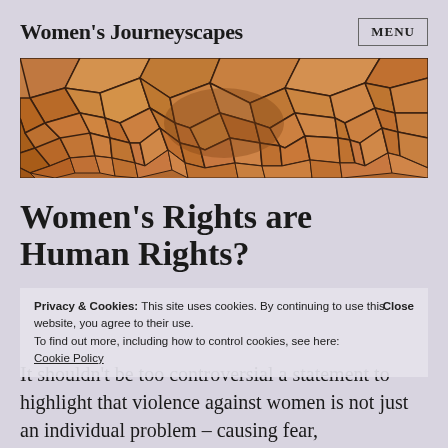Women's Journeyscapes   MENU
[Figure (photo): Aerial or close-up view of cracked earth or paved stones in orange/brown tones, resembling dried mud or mosaic pavement.]
Women's Rights are Human Rights?
Privacy & Cookies: This site uses cookies. By continuing to use this website, you agree to their use. To find out more, including how to control cookies, see here: Cookie Policy   Close
It shouldn't be too controversial a statement to highlight that violence against women is not just an individual problem – causing fear,